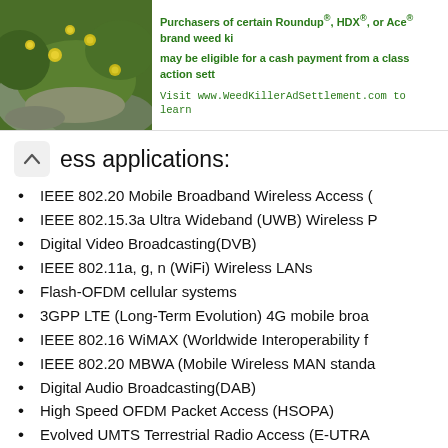[Figure (photo): Advertisement banner with a photo of yellow flowers on green foliage on the left, and green text on white background on the right promoting a class action settlement for Roundup, HDX, or Ace brand weed killers. Mentions www.WeedKillerAdSettlement.com]
ess applications:
IEEE 802.20 Mobile Broadband Wireless Access (
IEEE 802.15.3a Ultra Wideband (UWB) Wireless P
Digital Video Broadcasting(DVB)
IEEE 802.11a, g, n (WiFi) Wireless LANs
Flash-OFDM cellular systems
3GPP LTE (Long-Term Evolution) 4G mobile broa
IEEE 802.16 WiMAX (Worldwide Interoperability f
IEEE 802.20 MBWA (Mobile Wireless MAN standa
Digital Audio Broadcasting(DAB)
High Speed OFDM Packet Access (HSOPA)
Evolved UMTS Terrestrial Radio Access (E-UTRA
IEEE 802.22 Wireless Regional Area Networks (W
OFDM introduces three well-known tangles: